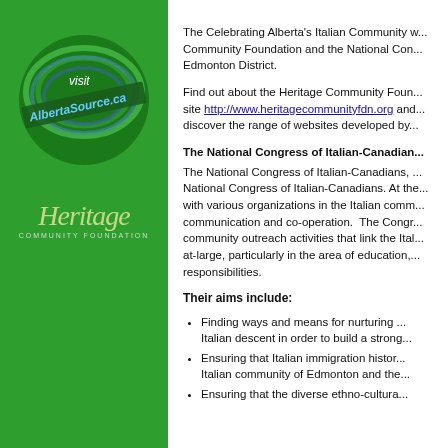[Figure (logo): AlbertaSource.ca circular logo with Visit text on green sidebar]
[Figure (logo): Heritage Community Foundation logo in script font on green sidebar]
The Celebrating Alberta's Italian Community w... Community Foundation and the National Con... Edmonton District.
Find out about the Heritage Community Foun... site http://www.heritagecommunityfdn.org and... discover the range of websites developed by...
The National Congress of Italian-Canadian...
The National Congress of Italian-Canadians, ... National Congress of Italian-Canadians. At the... with various organizations in the Italian comm... communication and co-operation. The Congr... community outreach activities that link the Ita... at-large, particularly in the area of education,... responsibilities.
Their aims include:
Finding ways and means for nurturing ... Italian descent in order to build a strong...
Ensuring that Italian immigration histor... Italian community of Edmonton and the...
Ensuring that the diverse ethno-cultura...